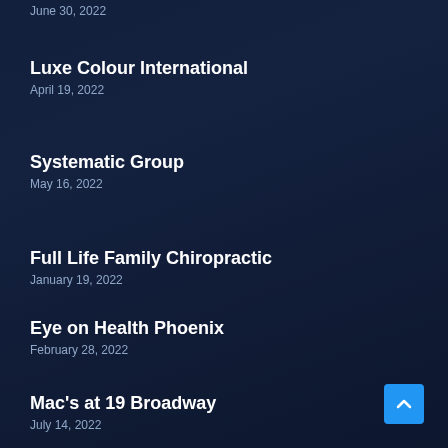June 30, 2022
Luxe Colour International
April 19, 2022
Systematic Group
May 16, 2022
Full Life Family Chiropractic
January 19, 2022
Eye on Health Phoenix
February 28, 2022
Mac's at 19 Broadway
July 14, 2022